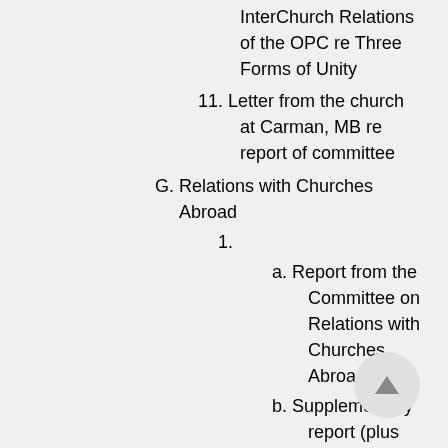InterChurch Relations of the OPC re Three Forms of Unity
11. Letter from the church at Carman, MB re report of committee
G. Relations with Churches Abroad
1.
a. Report from the Committee on Relations with Churches Abroad
b. Supplementary report (plus appendices)
2. Overture from the church at Carman, MB re contact with the Reformed Church in